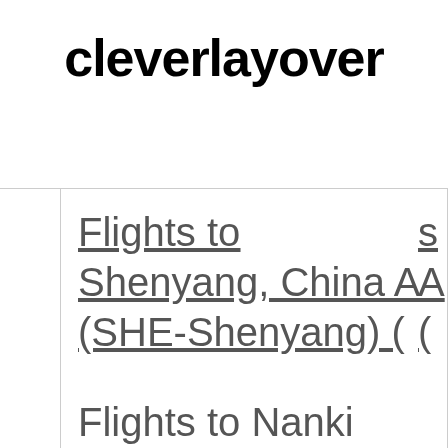cleverlayover
Flights to Shenyang, China Airport (SHE-Shenyang)
Flights to Nanki